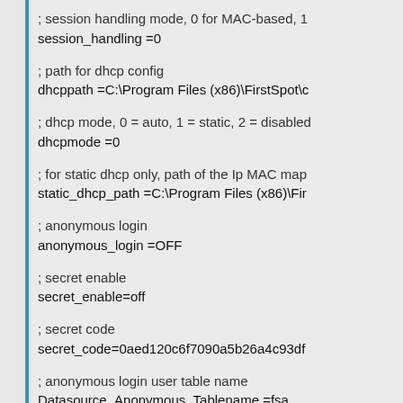; session handling mode, 0 for MAC-based, 1
session_handling =0
; path for dhcp config
dhcppath =C:\Program Files (x86)\FirstSpot\c
; dhcp mode, 0 = auto, 1 = static, 2 = disabled
dhcpmode =0
; for static dhcp only, path of the Ip MAC map
static_dhcp_path =C:\Program Files (x86)\Fir
; anonymous login
anonymous_login =OFF
; secret enable
secret_enable=off
; secret code
secret_code=0aed120c6f7090a5b26a4c93df
; anonymous login user table name
Datasource_Anonymous_Tablename =fsa
; anonymous login log table name